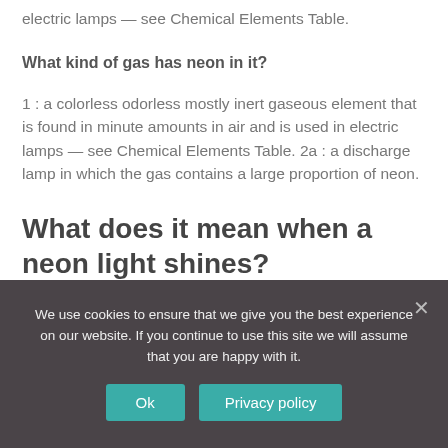electric lamps — see Chemical Elements Table.
What kind of gas has neon in it?
1 : a colorless odorless mostly inert gaseous element that is found in minute amounts in air and is used in electric lamps — see Chemical Elements Table. 2a : a discharge lamp in which the gas contains a large proportion of neon.
What does it mean when a neon light shines?
We use cookies to ensure that we give you the best experience on our website. If you continue to use this site we will assume that you are happy with it.